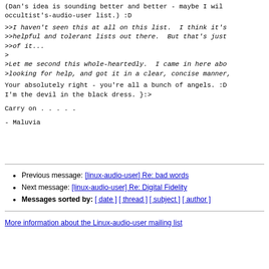(Dan's idea is sounding better and better - maybe I will occultist's-audio-user list.) :D
>>I haven't seen this at all on this list.  I think it's
>>helpful and tolerant lists out there.  But that's just
>>of it...
>
>Let me second this whole-heartedly.  I came in here about
>looking for help, and got it in a clear, concise manner,
Your absolutely right - you're all a bunch of angels. :D
I'm the devil in the black dress. }:>
Carry on . . . . .
- Maluvia
Previous message: [linux-audio-user] Re: bad words
Next message: [linux-audio-user] Re: Digital Fidelity
Messages sorted by: [ date ] [ thread ] [ subject ] [ author ]
More information about the Linux-audio-user mailing list